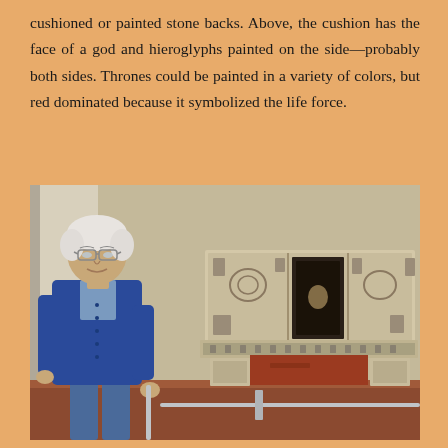cushioned or painted stone backs. Above, the cushion has the face of a god and hieroglyphs painted on the side—probably both sides. Thrones could be painted in a variety of colors, but red dominated because it symbolized the life force.
[Figure (photo): An elderly man with white hair and glasses, wearing a blue cardigan over a light blue shirt and jeans, stands next to an ancient Mayan stone throne/bench with carved hieroglyphic relief panels on the back and sides. The throne has a red painted base panel. The setting appears to be a museum interior.]